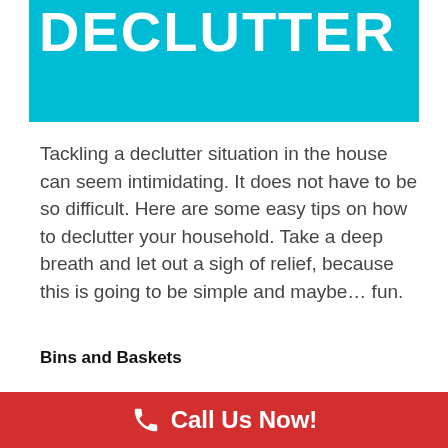[Figure (illustration): Teal/cyan banner with large white bold text reading DECLUTTER]
Tackling a declutter situation in the house can seem intimidating. It does not have to be so difficult. Here are some easy tips on how to declutter your household. Take a deep breath and let out a sigh of relief, because this is going to be simple and maybe... fun.
Bins and Baskets
Bins and baskets are your best friends when
[Figure (infographic): Red call-to-action bar at bottom with phone icon and text Call Us Now!]